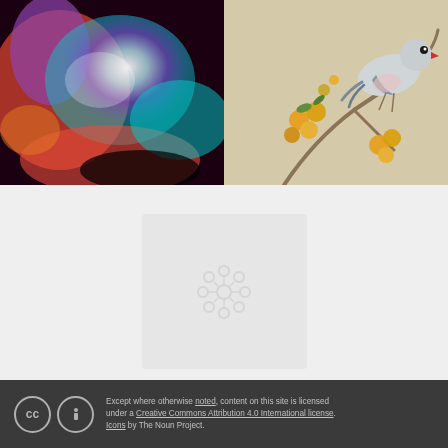[Figure (photo): Abstract colorful image with purple, blue, red and cyan swirling colors, resembling an abstract or microscopy photograph]
[Figure (illustration): Japanese-style woodblock print illustration of a bird (bullfinch or similar) perched on a branch with yellow/golden flowers, on a beige background]
[Figure (other): Placeholder card with a snowflake/flower icon, slightly visible on light grey background]
Except where otherwise noted, content on this site is licensed under a Creative Commons Attribution 4.0 International license. Icons by The Noun Project.